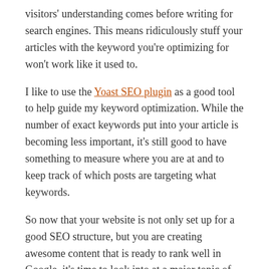visitors' understanding comes before writing for search engines. This means ridiculously stuff your articles with the keyword you're optimizing for won't work like it used to.
I like to use the Yoast SEO plugin as a good tool to help guide my keyword optimization. While the number of exact keywords put into your article is becoming less important, it's still good to have something to measure where you are at and to keep track of which posts are targeting what keywords.
So now that your website is not only set up for a good SEO structure, but you are creating awesome content that is ready to rank well in Google, it's time to look into at a major topic of discussion in the SEO world? Link building.
What is Link Building?